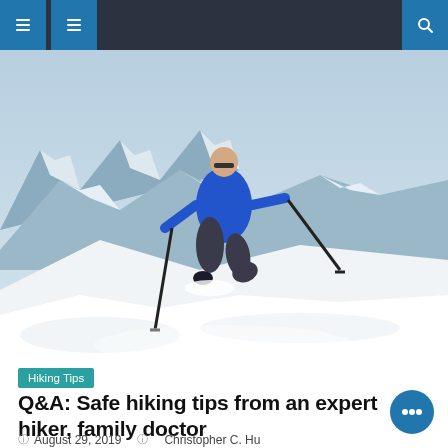Navigation header with menu icons and search
[Figure (photo): A hiker wearing a blue jacket and using trekking poles, hiking through deep snow on a mountain with snowy peaks in the background]
Hiking Tips
Q&A: Safe hiking tips from an expert hiker, family doctor
August 29, 2019   Christopher C. Hu